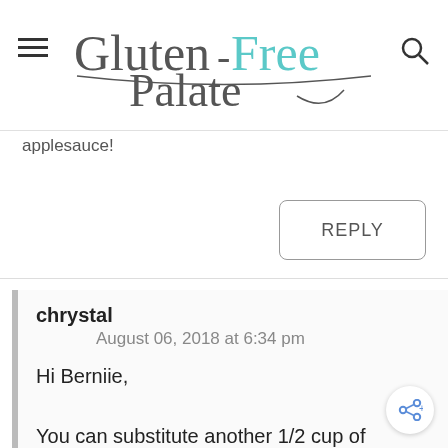[Figure (logo): Gluten-Free Palate website logo in cursive script with teal accent on 'Free']
applesauce!
REPLY
chrysal
August 06, 2018 at 6:34 pm
Hi Berniie,
You can substitute another 1/2 cup of mashed banana or pear sauce.
Hope that helps!